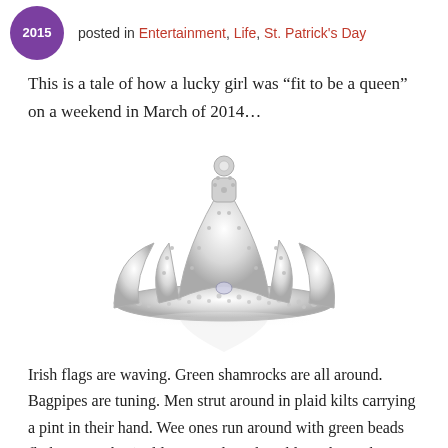2015 posted in Entertainment, Life, St. Patrick's Day
This is a tale of how a lucky girl was “fit to be a queen” on a weekend in March of 2014…
[Figure (photo): A decorative silver rhinestone tiara/crown on a white background with a reflection beneath it.]
Irish flags are waving. Green shamrocks are all around. Bagpipes are tuning. Men strut around in plaid kilts carrying a pint in their hand. Wee ones run around with green beads flicking. Lucky ‘gold’ coins adorn the tables. The Irish spirit and sounds fill the air! It’s a cacophony of noise. But hey, it’s St. Patrick’s Day. The official parade kickoff ceremony is beginning, in a pub, of course.